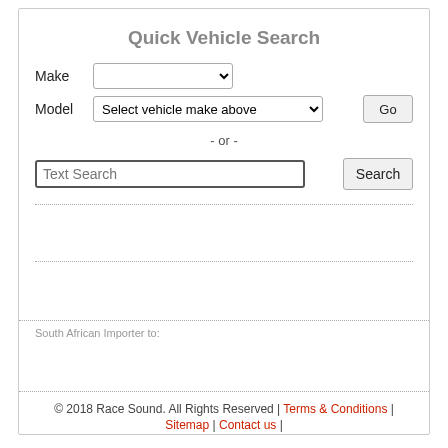Quick Vehicle Search
Make
Model
- or -
Text Search
South African Importer to:
© 2018 Race Sound. All Rights Reserved | Terms & Conditions | Sitemap | Contact us |